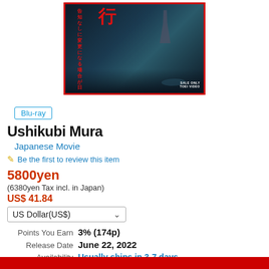[Figure (photo): Blu-ray disc cover art for Ushikubi Mura Japanese horror movie, showing a dark alley with a figure, red border, Japanese text in red on the left side, 'SALE ONLY TOEI VIDEO' badge in bottom right]
Blu-ray
Ushikubi Mura
Japanese Movie
Be the first to review this item
5800yen
(6380yen Tax incl. in Japan)
US$ 41.84
US Dollar(US$)
| Label | Value |
| --- | --- |
| Points You Earn | 3% (174p) |
| Release Date | June 22, 2022 |
| Availability | Usually ships in 3-7 days |